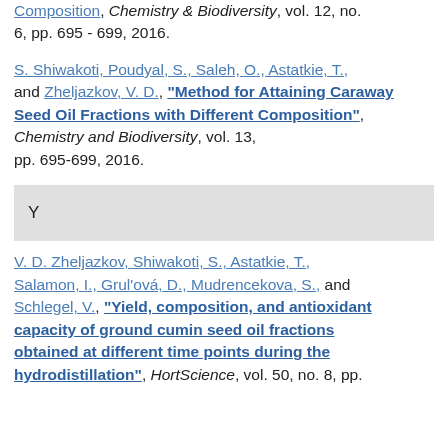Composition, Chemistry & Biodiversity, vol. 12, no. 6, pp. 695 - 699, 2016.
S. Shiwakoti, Poudyal, S., Saleh, O., Astatkie, T., and Zheljazkov, V. D., "Method for Attaining Caraway Seed Oil Fractions with Different Composition", Chemistry and Biodiversity, vol. 13, pp. 695-699, 2016.
Y
V. D. Zheljazkov, Shiwakoti, S., Astatkie, T., Salamon, I., Grul'ová, D., Mudrencekova, S., and Schlegel, V., "Yield, composition, and antioxidant capacity of ground cumin seed oil fractions obtained at different time points during the hydrodistillation", HortScience, vol. 50, no. 8, pp.